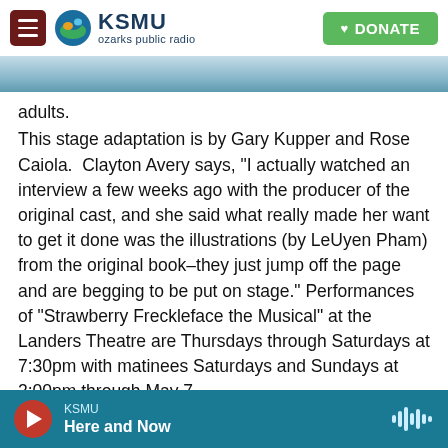KSMU ozarks public radio | DONATE
[Figure (screenshot): KSMU Ozarks Public Radio website header with hamburger menu, logo with globe icon, and green DONATE button]
adults.
This stage adaptation is by Gary Kupper and Rose Caiola.  Clayton Avery says, "I actually watched an interview a few weeks ago with the producer of the original cast, and she said what really made her want to get it done was the illustrations (by LeUyen Pham) from the original book–they just jump off the page and are begging to be put on stage." Performances of "Strawberry Freckleface the Musical" at the Landers Theatre are Thursdays through Saturdays at 7:30pm with matinees Saturdays and Sundays at 2:00pm through May 7. Tickets range from $10 to $18 and Little Theatre in
KSMU | Here and Now